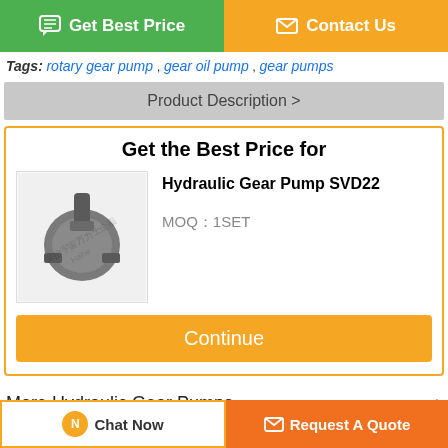Get Best Price | Contact Us (top buttons)
Tags: rotary gear pump , gear oil pump , gear pumps
Product Description >
Get the Best Price for
[Figure (photo): Hydraulic gear pump SVD22 product photo with watermark]
Hydraulic Gear Pump SVD22
MOQ：1SET
Continue
More  Hydraulic Gear Pumps
Chat Now | Request A Quote (bottom buttons)